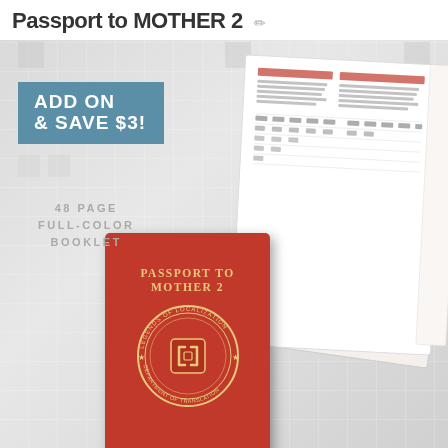Passport to MOTHER 2
ADD ON & SAVE $3!
48 PAGE FULL-COLOR BOOKLET
[Figure (photo): Red passport book cover with gold text reading PASSPORT TO MOTHER 2 and Legends of Localization seal, with booklet pages visible in background showing katakana charts]
PASSPORT TO MOTHER 2